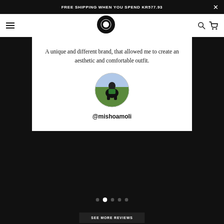FREE SHIPPING WHEN YOU SPEND Kr577.93
[Figure (logo): Circular O logo in black and white]
A unique and different brand, that allowed me to create an aesthetic and comfortable outfit.
[Figure (photo): Circular avatar photo of @mishoamoli, person sitting outdoors on grass]
@mishoamoli
SEE MORE REVIEWS